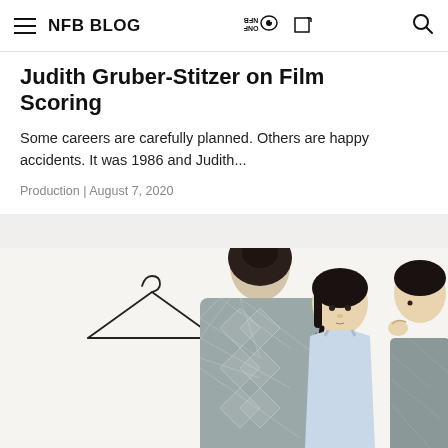NFB BLOG
Judith Gruber-Stitzer on Film Scoring
Some careers are carefully planned. Others are happy accidents. It was 1986 and Judith...
Production | August 7, 2020
[Figure (illustration): Illustrated scene showing stylized figures of women and a coat hanger. One figure is seen from behind wearing a grey diamond-patterned top with dark hair in a bun. Another figure faces forward in a light blue dress with dark braided hair. A third figure is partially visible on the right. A simple wire coat hanger is illustrated on the left side.]